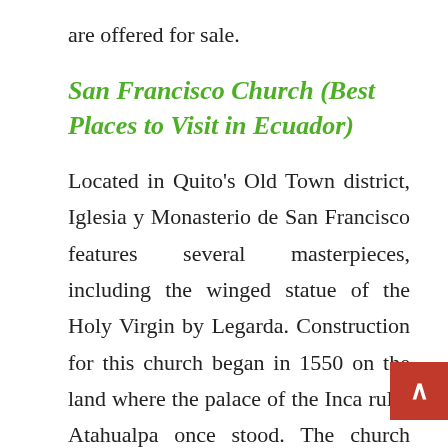are offered for sale.
San Francisco Church (Best Places to Visit in Ecuador)
Located in Quito's Old Town district, Iglesia y Monasterio de San Francisco features several masterpieces, including the winged statue of the Holy Virgin by Legarda. Construction for this church began in 1550 on the land where the palace of the Inca ruler Atahualpa once stood. The church complex is huge, spanning nearly two blocks, and includes an adjoining museum. The Church of San Francisco and the surrounding Old Town area is considered